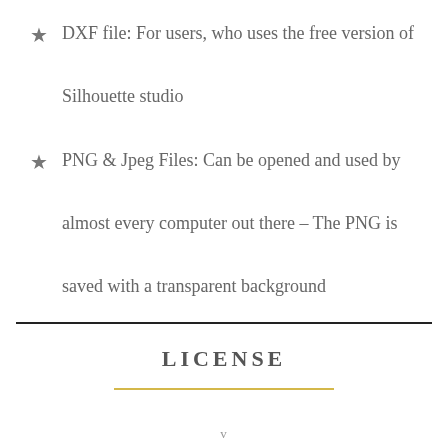DXF file: For users, who uses the free version of Silhouette studio
PNG & Jpeg Files: Can be opened and used by almost every computer out there – The PNG is saved with a transparent background
LICENSE